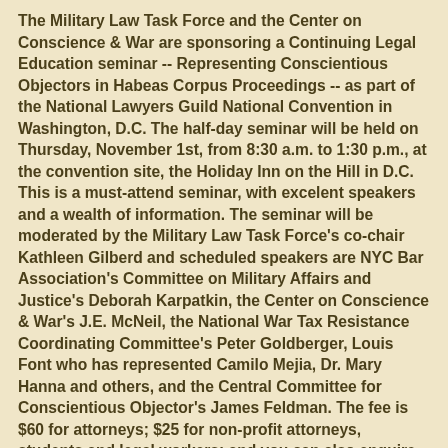The Military Law Task Force and the Center on Conscience & War are sponsoring a Continuing Legal Education seminar -- Representing Conscientious Objectors in Habeas Corpus Proceedings -- as part of the National Lawyers Guild National Convention in Washington, D.C. The half-day seminar will be held on Thursday, November 1st, from 8:30 a.m. to 1:30 p.m., at the convention site, the Holiday Inn on the Hill in D.C. This is a must-attend seminar, with excelent speakers and a wealth of information. The seminar will be moderated by the Military Law Task Force's co-chair Kathleen Gilberd and scheduled speakers are NYC Bar Association's Committee on Military Affairs and Justice's Deborah Karpatkin, the Center on Conscience & War's J.E. McNeil, the National War Tax Resistance Coordinating Committee's Peter Goldberger, Louis Font who has represented Camilo Mejia, Dr. Mary Hanna and others, and the Central Committee for Conscientious Objector's James Feldman. The fee is $60 for attorneys; $25 for non-profit attorneys, students and legal workers; and you can also enquire about scholarships or reduced fees. The convention itself will run from October 31st